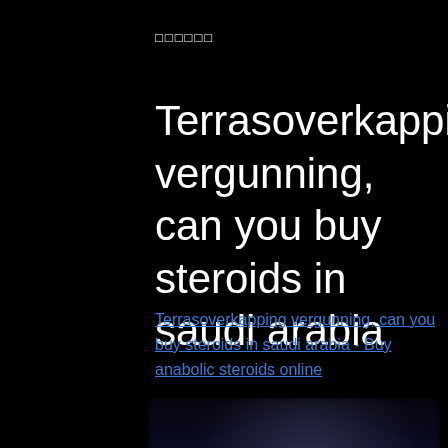□□□□□□
Terrasoverkapping vergunning, can you buy steroids in saudi arabia
Terrasoverkapping vergunning, can you buy steroids in saudi arabia - Buy anabolic steroids online
[Figure (photo): Blurred image of steroids/medicine products on dark background]